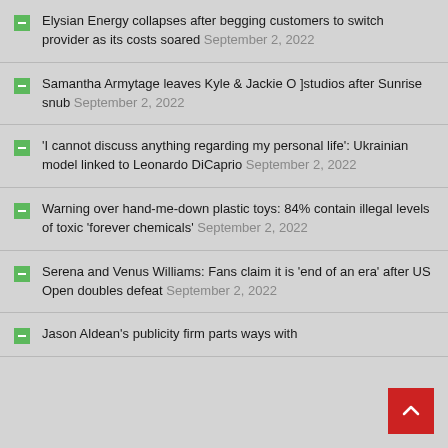Elysian Energy collapses after begging customers to switch provider as its costs soared September 2, 2022
Samantha Armytage leaves Kyle & Jackie O ]studios after Sunrise snub September 2, 2022
'I cannot discuss anything regarding my personal life': Ukrainian model linked to Leonardo DiCaprio September 2, 2022
Warning over hand-me-down plastic toys: 84% contain illegal levels of toxic 'forever chemicals' September 2, 2022
Serena and Venus Williams: Fans claim it is 'end of an era' after US Open doubles defeat September 2, 2022
Jason Aldean's publicity firm parts ways with